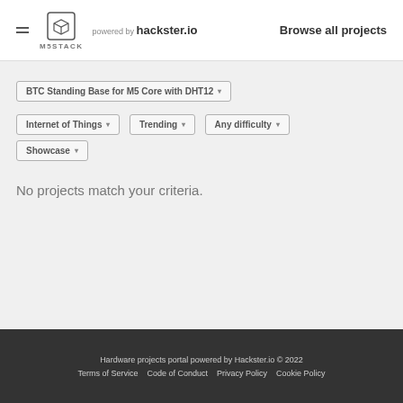M5STACK powered by hackster.io — Browse all projects
BTC Standing Base for M5 Core with DHT12 ▾
Internet of Things ▾  Trending ▾  Any difficulty ▾  Showcase ▾
No projects match your criteria.
Hardware projects portal powered by Hackster.io © 2022  Terms of Service  Code of Conduct  Privacy Policy  Cookie Policy